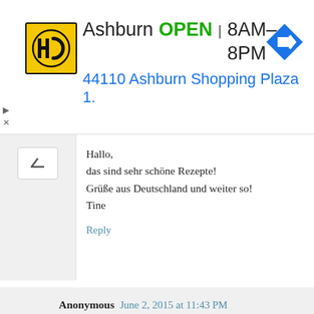[Figure (other): Advertisement banner: HC logo (yellow background, black H and C letters), text 'Ashburn OPEN 8AM–8PM / 44110 Ashburn Shopping Plaza 1.' with a blue navigation arrow icon. Play and close controls on left side.]
Hallo,
das sind sehr schöne Rezepte!
Grüße aus Deutschland und weiter so!
Tine
Reply
Anonymous  June 2, 2015 at 11:43 PM

This looks great. I would like to know if anyone has tried piping the mixture on to parchment and baking that way for a real crunch.
Reply